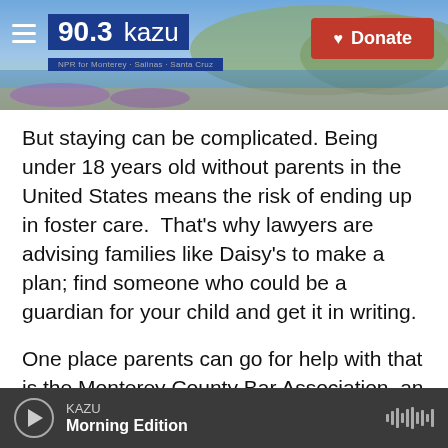90.3 KAZU — NPR for Monterey · Salinas · Santa Cruz | Donate
But staying can be complicated. Being under 18 years old without parents in the United States means the risk of ending up in foster care.  That's why lawyers are advising families like Daisy's to make a plan; find someone who could be a guardian for your child and get it in writing.
One place parents can go for help with that is the Monterey County Bar Association, an organization which connects people with local attorneys.
Community Engagement Coordinator Joseph Belmont says since President Trump was elected,
KAZU — Morning Edition